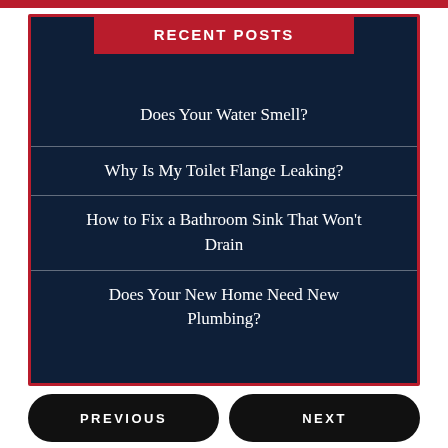RECENT POSTS
Does Your Water Smell?
Why Is My Toilet Flange Leaking?
How to Fix a Bathroom Sink That Won't Drain
Does Your New Home Need New Plumbing?
PREVIOUS   NEXT